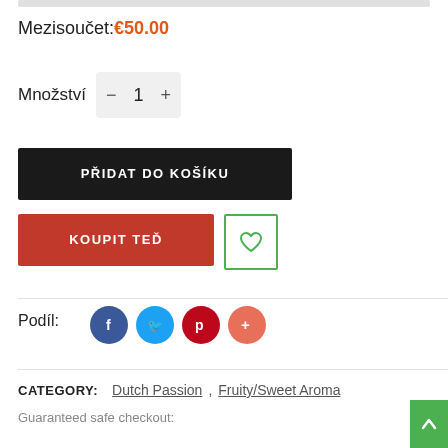Mezisoučet: €50.00
Množství  1
PŘIDAT DO KOŠÍKU
KOUPIT TEĎ
[Figure (other): Wishlist heart icon button with green border]
Podíl:
[Figure (other): Social share buttons: Facebook, Twitter, Pinterest, Plus]
CATEGORY:  Dutch Passion , Fruity/Sweet Aroma
Guaranteed safe checkout:
[Figure (other): Green scroll-to-top button with up arrow]